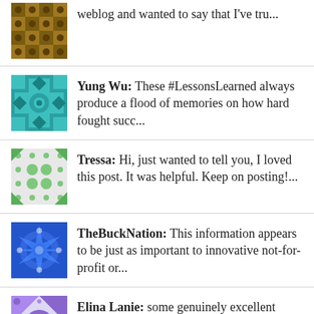weblog and wanted to say that I've tru...
Yung Wu: These #LessonsLearned always produce a flood of memories on how hard fought succ...
Tressa: Hi, just wanted to tell you, I loved this post. It was helpful. Keep on posting!...
TheBuckNation: This information appears to be just as important to innovative not-for-profit or...
Elina Lanie: some genuinely excellent posts on this site, appreciate it for contribution....
Trena Miskovich: Thanks for this information it actually saved me a few hours of trawling google....
RESEVER: I enjoy visiting daily to see your writings.